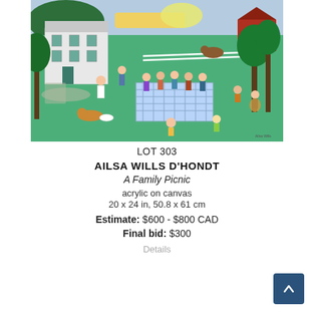[Figure (illustration): Folk art painting 'A Family Picnic' by Ailsa Wills D'Hondt — acrylic on canvas showing a large outdoor family gathering on a green lawn in front of a white farmhouse, with a barn in the background, people seated at a blue checkered tablecloth table, children and dogs playing, and trees surrounding the scene.]
LOT 303
AILSA WILLS D'HONDT
A Family Picnic
acrylic on canvas
20 x 24 in, 50.8 x 61 cm
Estimate: $600 - $800 CAD
Final bid: $300
Details